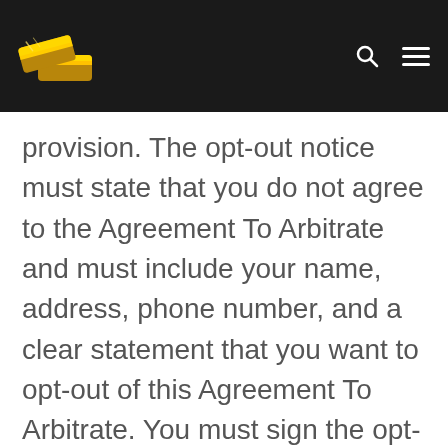[Figure (logo): Gold bars logo image in website header navigation bar with dark background]
provision. The opt-out notice must state that you do not agree to the Agreement To Arbitrate and must include your name, address, phone number, and a clear statement that you want to opt-out of this Agreement To Arbitrate. You must sign the opt-out notice for it to be effective. This procedure is the only way you can opt-out of the Agreement To Arbitrate. You